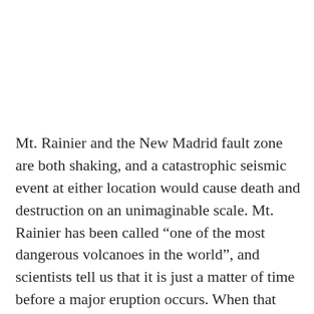Mt. Rainier and the New Madrid fault zone are both shaking, and a catastrophic seismic event at either location would cause death and destruction on an unimaginable scale. Mt. Rainier has been called “one of the most dangerous volcanoes in the world”, and scientists tell us that it is just a matter of time before a major eruption occurs. When that day finally arrives, Mt. Rainier has the potential to bury hundreds of square miles with a colossal tsunami of super-heated mud that is literally several hundred feet deep. And since Mt. Rainier is very close to major population centers, we are talking about the